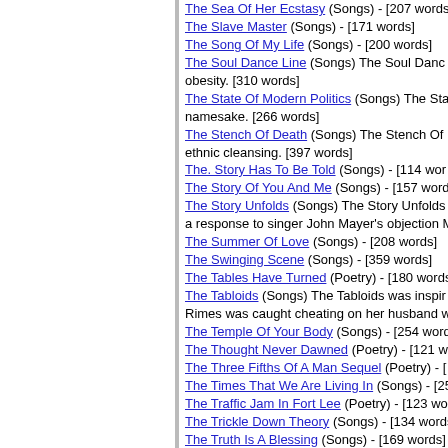The Sea Of Her Ecstasy (Songs) - [207 words]
The Slave Master (Songs) - [171 words]
The Song Of My Life (Songs) - [200 words]
The Soul Dance Line (Songs) The Soul Dance... obesity. [310 words]
The State Of Modern Politics (Songs) The Sta... namesake. [266 words]
The Stench Of Death (Songs) The Stench Of... ethnic cleansing. [397 words]
The. Story Has To Be Told (Songs) - [114 words]
The Story Of You And Me (Songs) - [157 words]
The Story Unfolds (Songs) The Story Unfolds... a response to singer John Mayer's objection M...
The Summer Of Love (Songs) - [208 words]
The Swinging Scene (Songs) - [359 words]
The Tables Have Turned (Poetry) - [180 words]
The Tabloids (Songs) The Tabloids was inspir... Rimes was caught cheating on her husband w...
The Temple Of Your Body (Songs) - [254 words]
The Thought Never Dawned (Poetry) - [121 words]
The Three Fifths Of A Man Sequel (Poetry) - [...]
The Times That We Are Living In (Songs) - [2...]
The Traffic Jam In Fort Lee (Poetry) - [123 words]
The Trickle Down Theory (Songs) - [134 words]
The Truth Is A Blessing (Songs) - [169 words]
The Two Minute Man (Poetry) - [131 words]